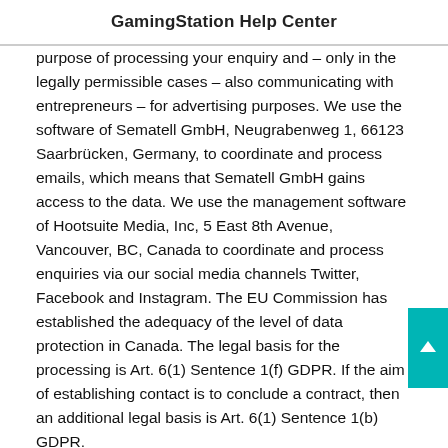GamingStation Help Center
purpose of processing your enquiry and – only in the legally permissible cases – also communicating with entrepreneurs – for advertising purposes. We use the software of Sematell GmbH, Neugrabenweg 1, 66123 Saarbrücken, Germany, to coordinate and process emails, which means that Sematell GmbH gains access to the data. We use the management software of Hootsuite Media, Inc, 5 East 8th Avenue, Vancouver, BC, Canada to coordinate and process enquiries via our social media channels Twitter, Facebook and Instagram. The EU Commission has established the adequacy of the level of data protection in Canada. The legal basis for the processing is Art. 6(1) Sentence 1(f) GDPR. If the aim of establishing contact is to conclude a contract, then an additional legal basis is Art. 6(1) Sentence 1(b) GDPR.
b) Blog
In our blog, where we publish various articles on topics related to our activities, you can post public comments. Your comments will be published along with your chosen username. We recommend using a pseudonym instead of your real name. It is necessary to provide a username and email address, while all